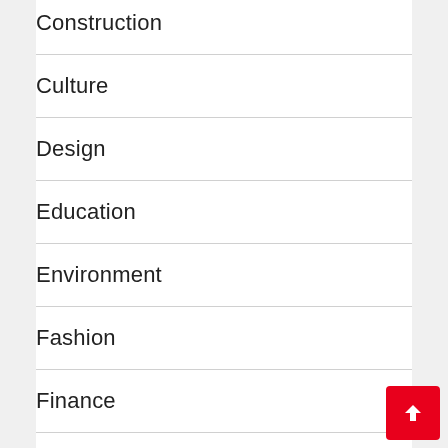Construction
Culture
Design
Education
Environment
Fashion
Finance
Food & Drink
Gaming